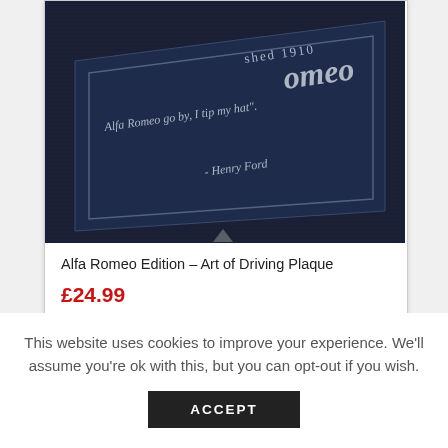[Figure (photo): Dark navy blue plaque with silver italic text reading 'Alfa Romeo go by, I tip my hat. - Henry Ford' and 'shed 1910' visible, with Alfa Romeo script logo. Close-up product photo on dark textured background.]
Alfa Romeo Edition – Art of Driving Plaque
£24.99
Add to cart   Show Details
This website uses cookies to improve your experience. We'll assume you're ok with this, but you can opt-out if you wish.
ACCEPT